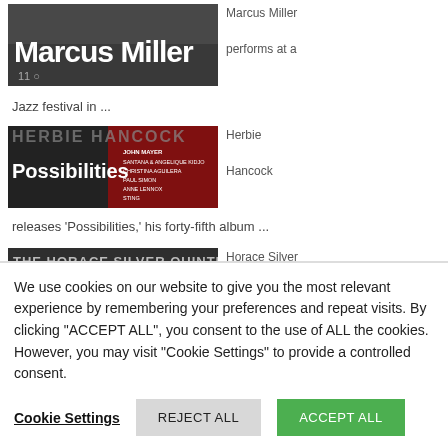[Figure (photo): Marcus Miller performing - photo with large white text 'Marcus Miller' overlaid on dark background]
Marcus Miller performs at a Jazz festival in ...
[Figure (photo): Herbie Hancock 'Possibilities' album cover with text listing collaborators: John Mayer, Santana & Angelique Kidjo, Christina Aguilera, Paul Simon, Annie Lennox, Sting]
Herbie Hancock releases 'Possibilities,' his forty-fifth album ...
[Figure (photo): The Horace Silver Quintet 'Blowin' the Blues Away' album cover]
Horace Silver records
We use cookies on our website to give you the most relevant experience by remembering your preferences and repeat visits. By clicking "ACCEPT ALL", you consent to the use of ALL the cookies. However, you may visit "Cookie Settings" to provide a controlled consent.
Cookie Settings | REJECT ALL | ACCEPT ALL